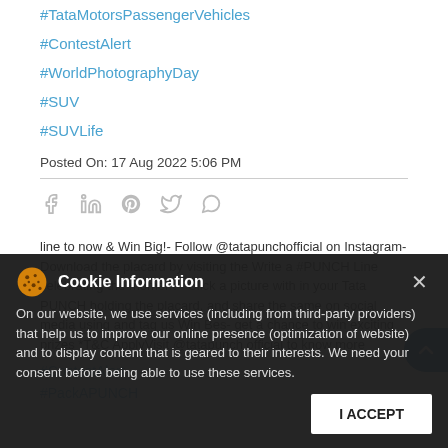#TataMotorsPassengerVehicles
#ContestAlert
#WorldPhotographyDay
#SUV
#SUVLife
Posted On: 17 Aug 2022 5:06 PM
line to now & Win Big!- Follow @tatapunchofficial on Instagram- Download the placard by visiting the Write a #PUNCH Line celebrating the moment - Click a picture with in your Tata PUNCH holding the placard, and share the same on social media using and tag us Win Bes- get a chance to win exciting prizes *T&C ApplyVisit @tatapunch.official to know more
#ContestAlert
#PackAPUNCH
Cookie Information
On our website, we use services (including from third-party providers) that help us to improve our online presence (optimization of website) and to display content that is geared to their interests. We need your consent before being able to use these services.
I ACCEPT